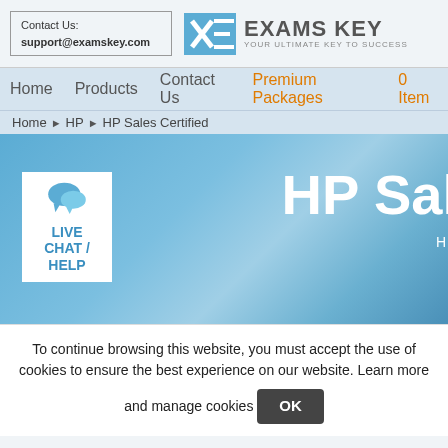Contact Us: support@examskey.com | EXAMS KEY – YOUR ULTIMATE KEY TO SUCCESS
Home | Products | Contact Us | Premium Packages | 0 Items
Home ▶ HP ▶ HP Sales Certified
[Figure (screenshot): HP Sales Certified banner with blue gradient background showing 'HP Sal' text (truncated) in large white font, and a Live Chat / Help widget on the left with speech bubble icon in blue and white box]
To continue browsing this website, you must accept the use of cookies to ensure the best experience on our website. Learn more and manage cookies OK